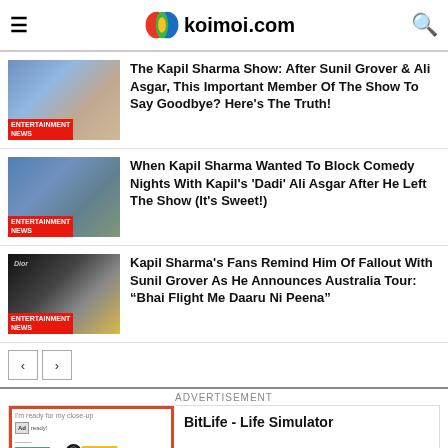koimoi.com
The Kapil Sharma Show: After Sunil Grover & Ali Asgar, This Important Member Of The Show To Say Goodbye? Here's The Truth!
When Kapil Sharma Wanted To Block Comedy Nights With Kapil's 'Dadi' Ali Asgar After He Left The Show (It's Sweet!)
Kapil Sharma's Fans Remind Him Of Fallout With Sunil Grover As He Announces Australia Tour: "Bhai Flight Me Daaru Ni Peena"
ADVERTISEMENT
[Figure (screenshot): BitLife - Life Simulator advertisement banner with orange and white styling]